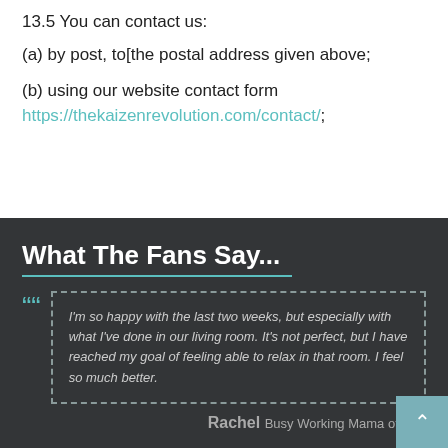13.5 You can contact us:
(a) by post, to[the postal address given above;
(b) using our website contact form https://thekaizenrevolution.com/contact/;
What The Fans Say...
I'm so happy with the last two weeks, but especially with what I've done in our living room. It's not perfect, but I have reached my goal of feeling able to relax in that room. I feel so much better.
Rachel Busy Working Mama of Two